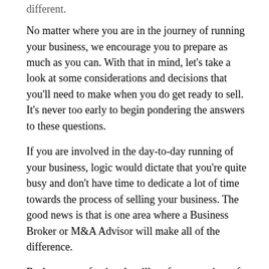No matter where you are in the journey of running your business, we encourage you to prepare as much as you can. With that in mind, let's take a look at some considerations and decisions that you'll need to make when you do get ready to sell. It's never too early to begin pondering the answers to these questions.
If you are involved in the day-to-day running of your business, logic would dictate that you're quite busy and don't have time to dedicate a lot of time towards the process of selling your business. The good news is that is one area where a Business Broker or M&A Advisor will make all of the difference.
Brokerage professionals will perform a variety of tasks from start to finish, including negotiating and interacting with prospective buyers on your behalf.  These professionals will be able to work on many things independently and, if it is your preference, they can notify you only about the most relevant details of the transaction.